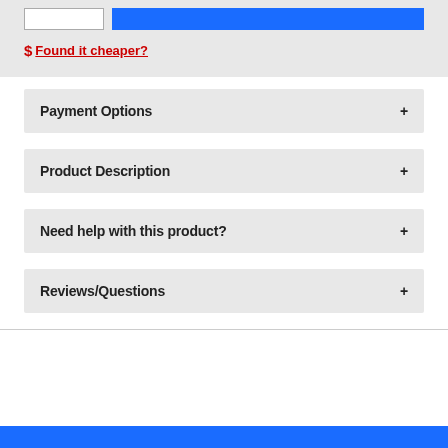$ Found it cheaper?
Payment Options +
Product Description +
Need help with this product? +
Reviews/Questions +